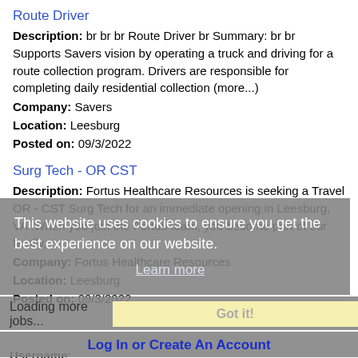Route Driver
Description: br br br Route Driver br Summary: br br Supports Savers vision by operating a truck and driving for a route collection program. Drivers are responsible for completing daily residential collection (more...)
Company: Savers
Location: Leesburg
Posted on: 09/3/2022
Surg Tech - OR CST
Description: Fortus Healthcare Resources is seeking a Travel OR - CST Surg Tech for an immediate opening in Leesburg, VA .When you join the Fortus team, you become part of our family,
Company: Fortus Healthcare Resources
Location: Leesburg
Posted on: 09/3/2022
This website uses cookies to ensure you get the best experience on our website.
Learn more
Loading more jobs...
Got it!
Log In or Create An Account
Username: